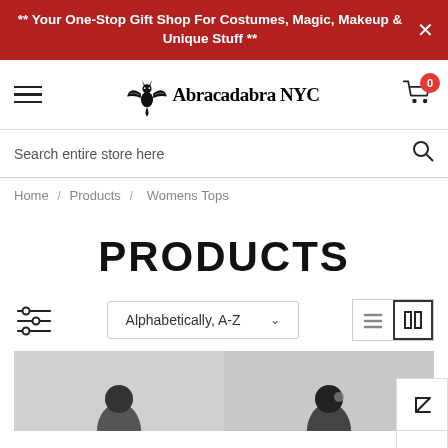** Your One-Stop Gift Shop For Costumes, Magic, Makeup & Unique Stuff **
[Figure (logo): Abracadabra NYC logo with dragon/bat creature and stylized text]
Search entire store here
Home / Products / Womens Tops
PRODUCTS
Alphabetically, A-Z